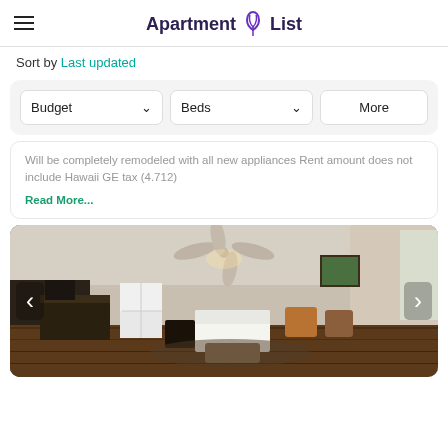Apartment List
Sort by Last updated
Budget  Beds  More
Will be completely remodeled with all new appliances Rent amount does not include Hawaii GE tax (4.712) Read More...
[Figure (photo): Interior photo of an apartment room with ceiling fan, bed, chairs, hardwood floors, refrigerator, and furniture.]